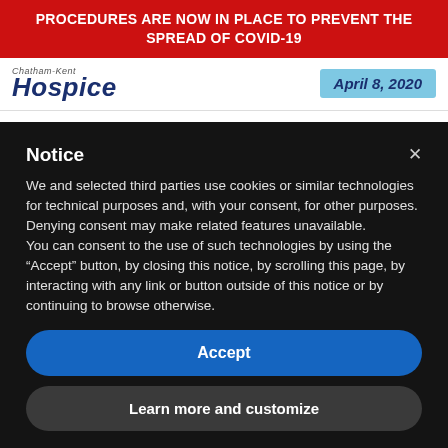PROCEDURES ARE NOW IN PLACE TO PREVENT THE SPREAD OF COVID-19
[Figure (logo): Chatham-Kent Hospice logo with date April 8, 2020]
Notice
We and selected third parties use cookies or similar technologies for technical purposes and, with your consent, for other purposes. Denying consent may make related features unavailable.
You can consent to the use of such technologies by using the “Accept” button, by closing this notice, by scrolling this page, by interacting with any link or button outside of this notice or by continuing to browse otherwise.
Accept
Learn more and customize